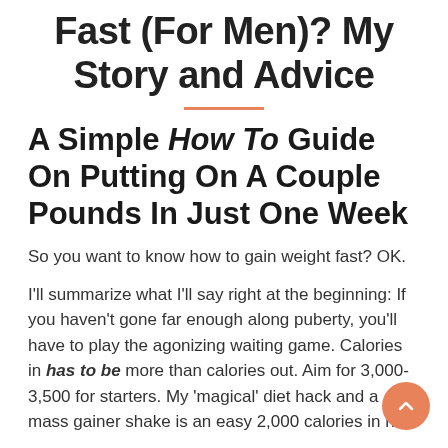Fast (For Men)? My Story and Advice
A Simple How To Guide On Putting On A Couple Pounds In Just One Week
So you want to know how to gain weight fast? OK.
I'll summarize what I'll say right at the beginning: If you haven't gone far enough along puberty, you'll have to play the agonizing waiting game. Calories in has to be more than calories out. Aim for 3,000-3,500 for starters. My 'magical' diet hack and a mass gainer shake is an easy 2,000 calories in no